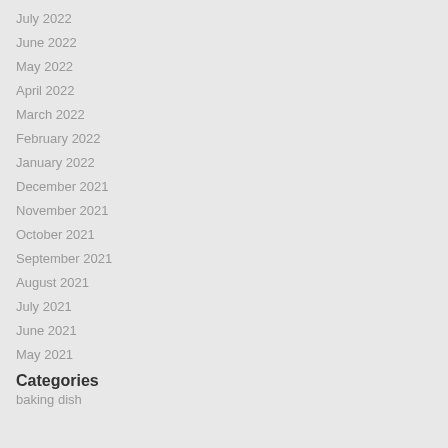July 2022
June 2022
May 2022
April 2022
March 2022
February 2022
January 2022
December 2021
November 2021
October 2021
September 2021
August 2021
July 2021
June 2021
May 2021
Categories
baking dish